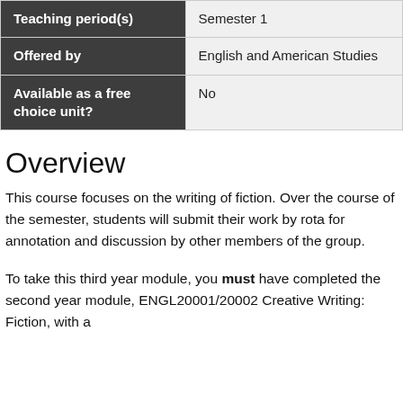| Label | Value |
| --- | --- |
| Teaching period(s) | Semester 1 |
| Offered by | English and American Studies |
| Available as a free choice unit? | No |
Overview
This course focuses on the writing of fiction. Over the course of the semester, students will submit their work by rota for annotation and discussion by other members of the group.
To take this third year module, you must have completed the second year module, ENGL20001/20002 Creative Writing: Fiction, with a